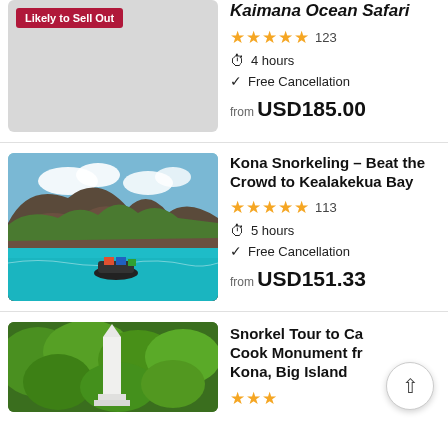[Figure (photo): Partially visible listing image with 'Likely to Sell Out' badge on light grey background (top listing, image mostly cropped)]
Kaimana Ocean Safari
★★★★★ 123 | 4 hours | Free Cancellation | from USD185.00
[Figure (photo): Aerial photo of Kealakekua Bay with turquoise water, rocky cliffs, and a boat in the water]
Kona Snorkeling – Beat the Crowd to Kealakekua Bay
★★★★★ 113 | 5 hours | Free Cancellation | from USD151.33
[Figure (photo): Photo of a white obelisk monument surrounded by lush green tropical trees]
Snorkel Tour to Captain Cook Monument from Kona, Big Island